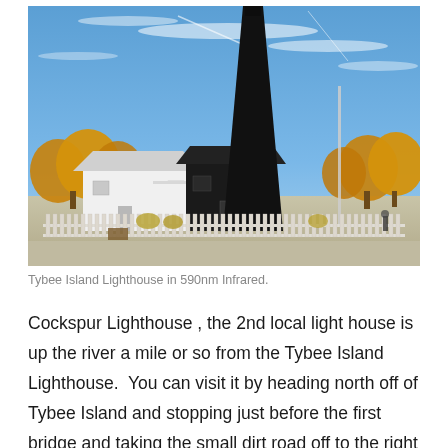[Figure (photo): Infrared photograph of Tybee Island Lighthouse complex showing a tall dark lighthouse tower, white keeper's house, and a dark building in front, surrounded by golden/orange trees under a blue sky with wispy clouds.]
Tybee Island Lighthouse in 590nm Infrared.
Cockspur Lighthouse , the 2nd local light house is up the river a mile or so from the Tybee Island Lighthouse.  You can visit it by heading north off of Tybee Island and stopping just before the first bridge and taking the small dirt road off to the right to the marina.  You will then have